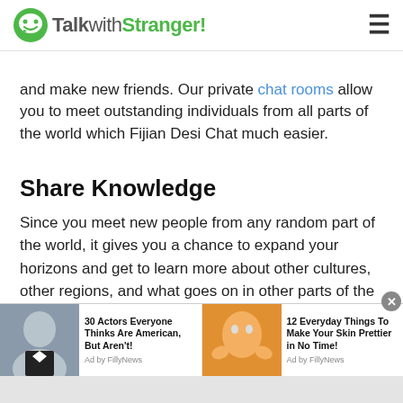TalkwithStranger!
and make new friends. Our private chat rooms allow you to meet outstanding individuals from all parts of the world which Fijian Desi Chat much easier.
Share Knowledge
Since you meet new people from any random part of the world, it gives you a chance to expand your horizons and get to learn more about other cultures, other regions, and what goes on in other parts of the world.
With the help of stranger chat, you can share information
[Figure (screenshot): Advertisement bar with two ad items: '30 Actors Everyone Thinks Are American, But Aren't!' and '12 Everyday Things To Make Your Skin Prettier in No Time!' both by FillyNews]